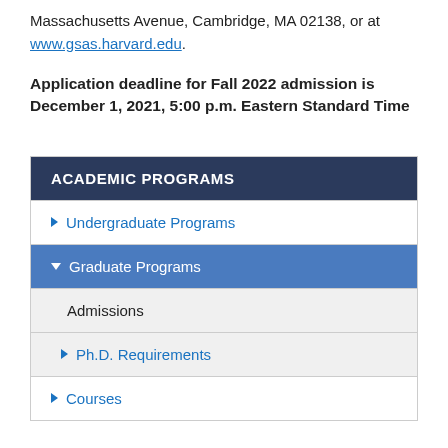Massachusetts Avenue, Cambridge, MA 02138, or at www.gsas.harvard.edu.
Application deadline for Fall 2022 admission is December 1, 2021, 5:00 p.m. Eastern Standard Time
ACADEMIC PROGRAMS
Undergraduate Programs
Graduate Programs
Admissions
Ph.D. Requirements
Courses